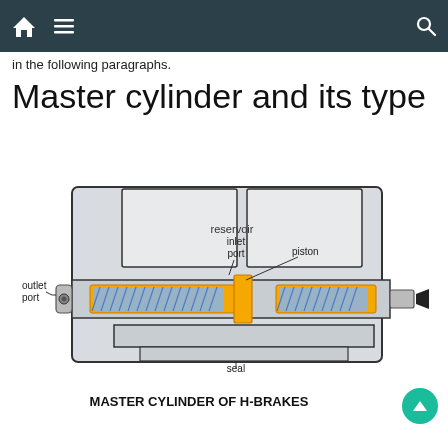navigation bar with home, menu, search icons
in the following paragraphs.
Master cylinder and its type
[Figure (engineering-diagram): Cross-section diagram of a Master Cylinder of H-Brakes, showing reservoir, inlet port, outlet port, piston, seal, spring coils (blue), and piston rod (orange/yellow). Labels point to each component.]
MASTER CYLINDER OF H-BRAKES